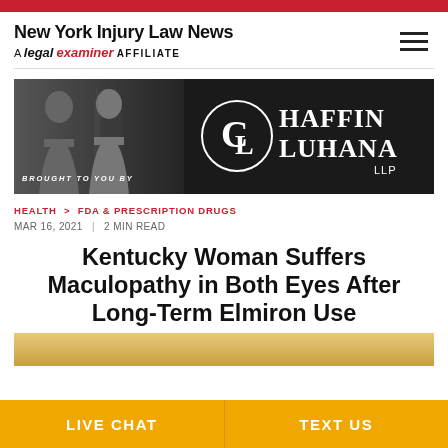New York Injury Law News — A legal examiner AFFILIATE
[Figure (photo): Banner advertisement: 'BROUGHT TO YOU BY' with two people in grayscale on left, Chaffin Luhana LLP logo on dark background on right]
HEALTH > FDA & PRESCRIPTION DRUGS
MAR 16, 2021 | 2 MIN READ
Kentucky Woman Suffers Maculopathy in Both Eyes After Long-Term Elmiron Use
[Figure (photo): Partial photo at bottom of article]
LIVE CHAT | TEXT US